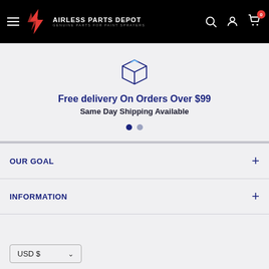AIRLESS PARTS DEPOT - GENUINE PARTS FOR PAINT SPRAYERS
[Figure (illustration): Box/package icon outline in dark blue]
Free delivery On Orders Over $99
Same Day Shipping Available
OUR GOAL
INFORMATION
USD $